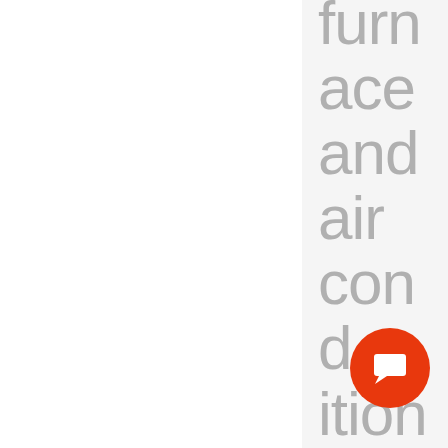furnace and air conditioner installation. p and
[Figure (other): Orange circular chat/messaging button with white speech bubble icon in the bottom right area of the page]